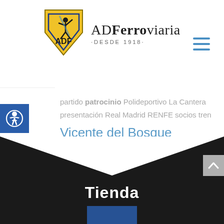[Figure (logo): AD Ferroviaria logo: shield with athlete figure and 'ADF' text, yellow and blue/black. Brand text reads 'ADFerroviaria · DESDE 1918 ·']
partido patrocinio Polideportivo La Cantera presentación Real Madrid RENFE socios tren Vicente del Bosque victoria
Tienda